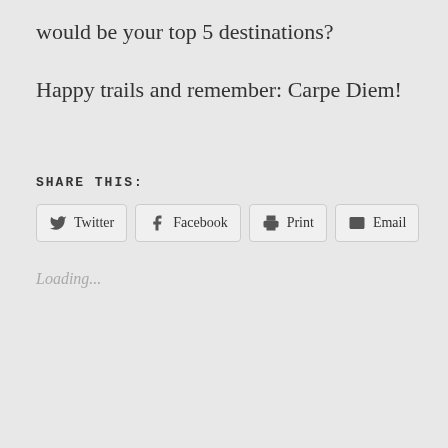would be your top 5 destinations?
Happy trails and remember: Carpe Diem!
SHARE THIS:
[Figure (screenshot): Share buttons row: Twitter, Facebook, Print, Email]
Loading...